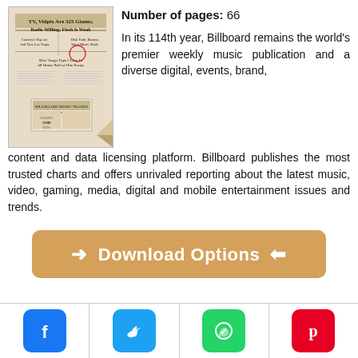[Figure (photo): Old newspaper-style magazine cover for Billboard, with headlines about music charts and entertainment]
Number of pages: 66
In its 114th year, Billboard remains the world's premier weekly music publication and a diverse digital, events, brand, content and data licensing platform. Billboard publishes the most trusted charts and offers unrivaled reporting about the latest music, video, gaming, media, digital and mobile entertainment issues and trends.
→ Download Options ←
[Figure (logo): Facebook icon button]
[Figure (logo): Twitter icon button]
[Figure (logo): WhatsApp icon button]
[Figure (logo): Pinterest icon button]